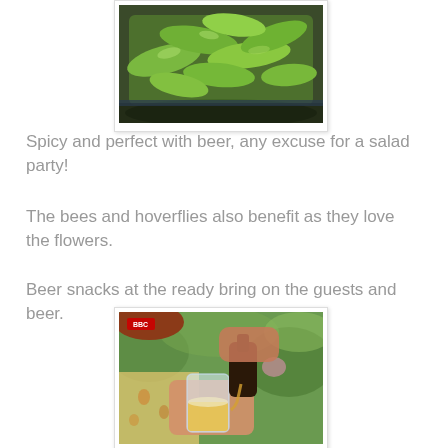[Figure (photo): Bowl of green peppers/chillies photographed from above]
Spicy and perfect with beer, any excuse for a salad party!
The bees and hoverflies also benefit as they love the flowers.
Beer snacks at the ready bring on the guests and beer.
[Figure (photo): BBC video screenshot showing a person pouring beer from a bottle into a glass, outdoors in a garden setting]